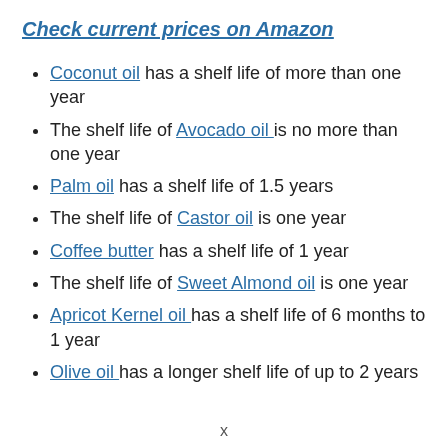Check current prices on Amazon
Coconut oil has a shelf life of more than one year
The shelf life of Avocado oil is no more than one year
Palm oil has a shelf life of 1.5 years
The shelf life of Castor oil is one year
Coffee butter has a shelf life of 1 year
The shelf life of Sweet Almond oil is one year
Apricot Kernel oil has a shelf life of 6 months to 1 year
Olive oil has a longer shelf life of up to 2 years
x